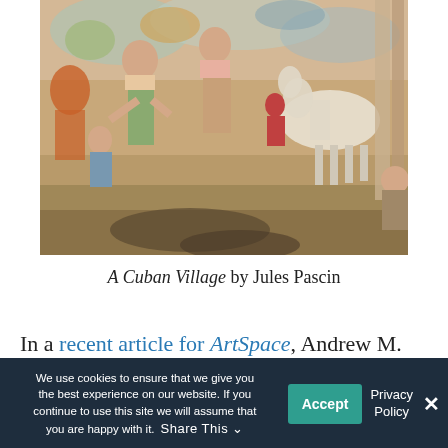[Figure (illustration): A painting showing a Cuban village scene with multiple figures, horses, and architectural elements. Warm earth tones with colorful figures in an impressionistic style. Painting by Jules Pascin.]
A Cuban Village by Jules Pascin
In a recent article for ArtSpace, Andrew M.
We use cookies to ensure that we give you the best experience on our website. If you continue to use this site we will assume that you are happy with it.